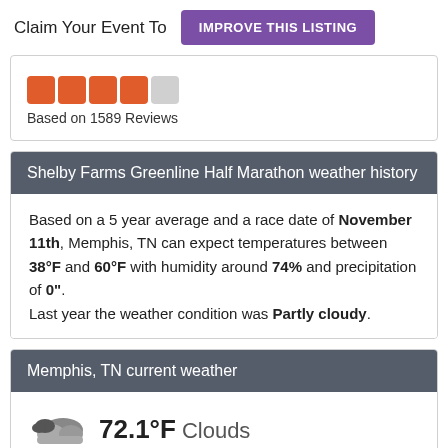Claim Your Event To  IMPROVE THIS LISTING
[Figure (other): Star rating: 4 out of 5 orange stars]
Based on 1589 Reviews
Shelby Farms Greenline Half Marathon weather history
Based on a 5 year average and a race date of November 11th, Memphis, TN can expect temperatures between 38°F and 60°F with humidity around 74% and precipitation of 0". Last year the weather condition was Partly cloudy.
Memphis, TN current weather
[Figure (other): Cloud icon with text: 72.1°F Clouds]